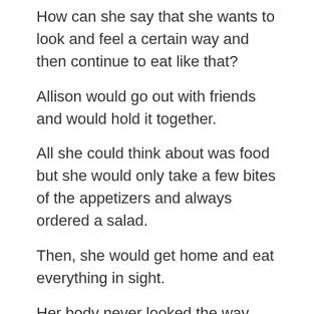How can she say that she wants to look and feel a certain way and then continue to eat like that?
Allison would go out with friends and would hold it together.
All she could think about was food but she would only take a few bites of the appetizers and always ordered a salad.
Then, she would get home and eat everything in sight.
Her body never looked the way she wanted it to.
She was never fulfilled.
Never satisfied.